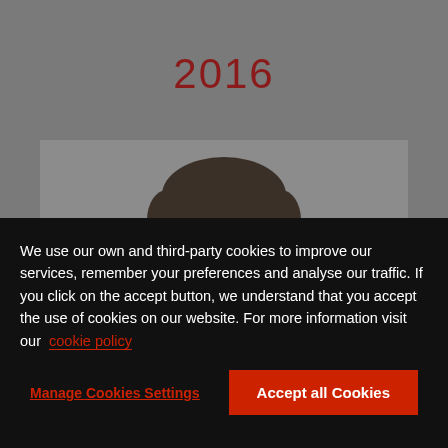2016
[Figure (photo): Portrait photo of a middle-aged man with short hair and a beard, on a grey background]
We use our own and third-party cookies to improve our services, remember your preferences and analyse our traffic. If you click on the accept button, we understand that you accept the use of cookies on our website. For more information visit our  cookie policy
Manage Cookies Settings
Accept all Cookies